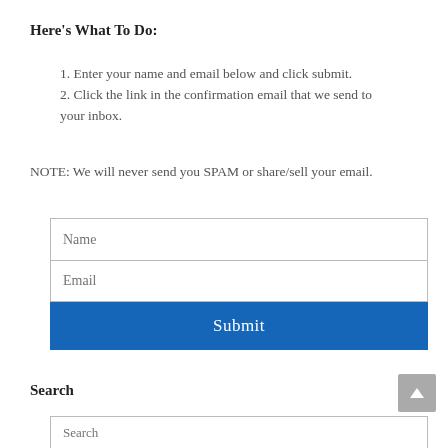Here's What To Do:
1. Enter your name and email below and click submit.
2. Click the link in the confirmation email that we send to your inbox.
NOTE: We will never send you SPAM or share/sell your email.
[Figure (other): A web form with Name text input, Email text input, and a blue Submit button]
Search
[Figure (other): A search input box partially visible at the bottom of the page, with a scroll-to-top button (grey square with up arrow) in the bottom right]